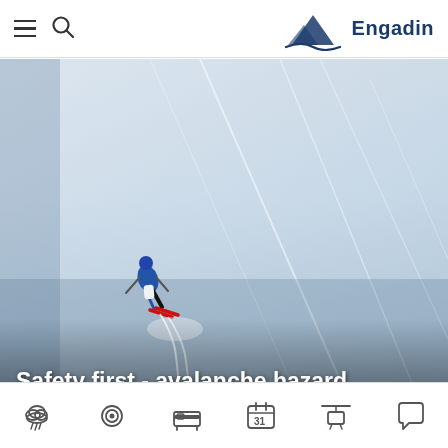Engadin
[Figure (photo): A skier in a blue jacket skiing down a steep, wide snow-covered slope with ski tracks visible in the powder. Aerial or wide-angle perspective. Text overlay at bottom reads: Safety first - avalanche hazard]
Safety first - avalanche hazard
Navigation icons: weather, webcam, accommodation, calendar, cable car, speech bubble